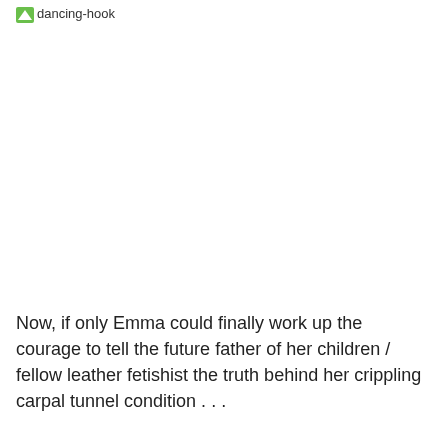[Figure (other): Broken image placeholder with alt text 'dancing-hook' and a small green icon]
Now, if only Emma could finally work up the courage to tell the future father of her children / fellow leather fetishist the truth behind her crippling carpal tunnel condition . . .